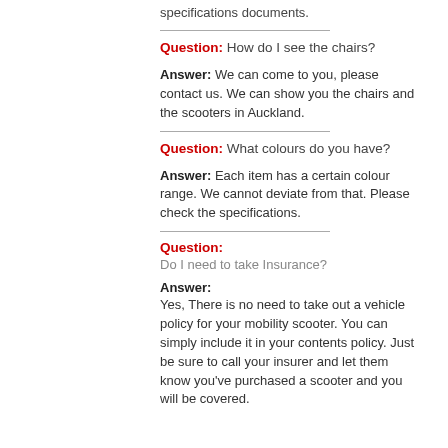specifications documents.
Question: How do I see the chairs?
Answer: We can come to you, please contact us. We can show you the chairs and the scooters in Auckland.
Question: What colours do you have?
Answer: Each item has a certain colour range. We cannot deviate from that. Please check the specifications.
Question: Do I need to take Insurance?
Answer: Yes, There is no need to take out a vehicle policy for your mobility scooter. You can simply include it in your contents policy. Just be sure to call your insurer and let them know you've purchased a scooter and you will be covered.